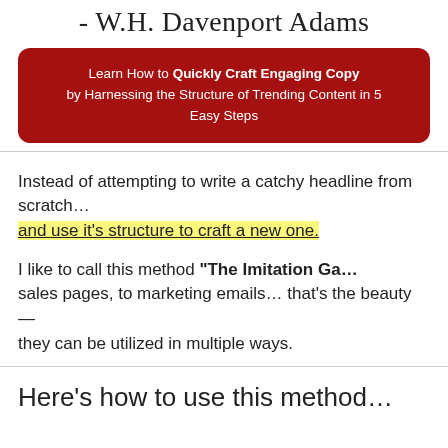- W.H. Davenport Adams
Learn How to Quickly Craft Engaging Copy by Harnessing the Structure of Trending Content in 5 Easy Steps
Instead of attempting to write a catchy headline from scratch, find one that's already working… and use it's structure to craft a new one.
I like to call this method "The Imitation Ga…" From blog headlines, to sales pages, to marketing emails… that's the beauty of these templates — they can be utilized in multiple ways.
Here's how to use this metho…